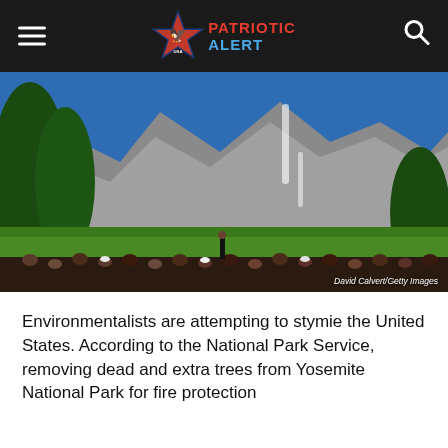PATRIOTIC ALERT
[Figure (photo): Crowd of visitors at Yosemite National Park with large granite cliffs, waterfall, green meadow, and trees in the background. Credit: David Calvert/Getty Images]
Environmentalists are attempting to stymie the United States. According to the National Park Service, removing dead and extra trees from Yosemite National Park for fire protection